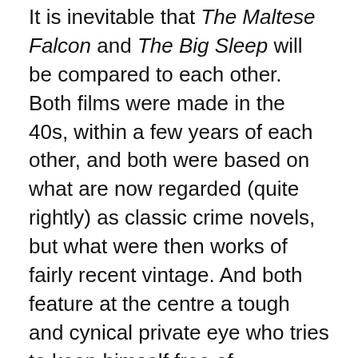It is inevitable that The Maltese Falcon and The Big Sleep will be compared to each other. Both films were made in the 40s, within a few years of each other, and both were based on what are now regarded (quite rightly) as classic crime novels, but what were then works of fairly recent vintage. And both feature at the centre a tough and cynical private eye who tries to keep himself free of corruption in a world where corruption is ever-present. And, famously, in both films, this private eye was played by Humphrey Bogart. So comparisons are, perhaps, inevitable. And it seems to me – I may be wrong, of course, basing my conclusion as I am on merely anecdotal evidence – that the current consensus of opinion favours The Big Sleep over The Maltese Falcon; that some go so far as to see The Maltese Falcon as a sort of preparation for the masterpiece that was to come later. I vehemently dis...